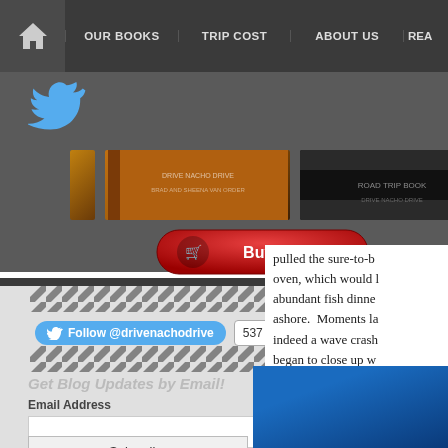OUR BOOKS | TRIP COST | ABOUT US | REA...
[Figure (screenshot): Website sidebar with Twitter bird logo, book cover images, Buy Now button, Twitter follow widget showing 537 followers, stripe dividers, email subscription form with Email Address field and Subscribe button]
pulled the sure-to-b oven, which would abundant fish dinne ashore. Moments la indeed a wave crash began to close up w back. Just because e thought, don't ride t